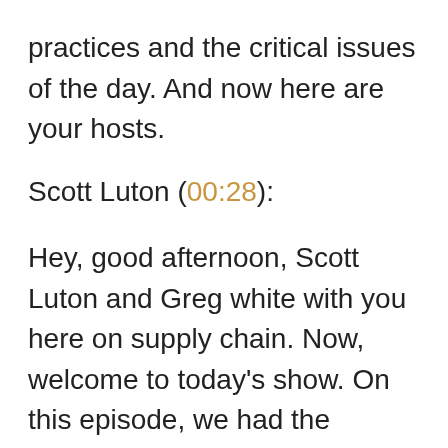practices and the critical issues of the day. And now here are your hosts.
Scott Luton (00:28):
Hey, good afternoon, Scott Luton and Greg white with you here on supply chain. Now, welcome to today's show. On this episode, we had the distinguished honor of interviewing the consul general of Canada in Atlanta, Nadia, Theodore, Greg, great show lined up. Huh? Yeah, I'm pretty excited about this. So, you know, we've gotten to talk to the consul general of Mexico and